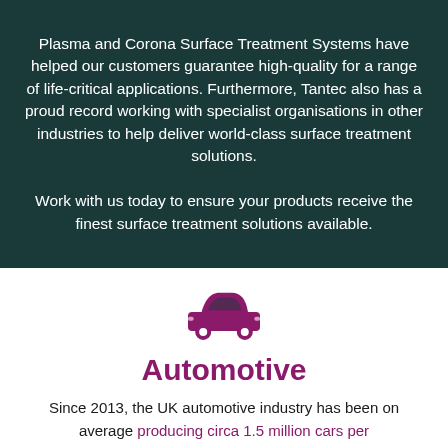Plasma and Corona Surface Treatment Systems have helped our customers guarantee high-quality for a range of life-critical applications. Furthermore, Tantec also has a proud record working with specialist organisations in other industries to help deliver world-class surface treatment solutions.

Work with us today to ensure your products receive the finest surface treatment solutions available.
[Figure (illustration): Purple/magenta car icon silhouette]
Automotive
Since 2013, the UK automotive industry has been on average producing circa 1.5 million cars per